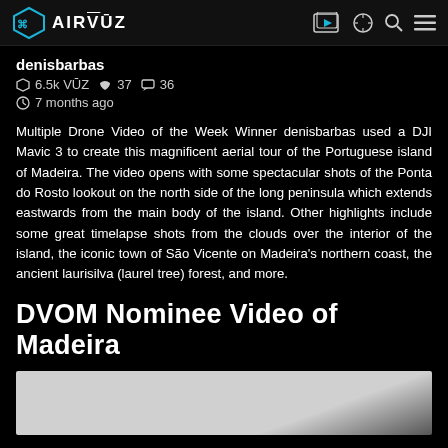AIRVŪZ
denisbarbas
⌘ 6.5k VŪZ  👍 37  💬 36
🕐 7 months ago
Multiple Drone Video of the Week Winner denisbarbas used a DJI Mavic 3 to create this magnificent aerial tour of the Portuguese island of Madeira. The video opens with some spectacular shots of the Ponta do Rosto lookout on the north side of the long peninsula which extends eastwards from the main body of the island. Other highlights include some great timelapse shots from the clouds over the interior of the island, the iconic town of São Vicente on Madeira's northern coast, the ancient laurisilva (laurel tree) forest, and more.
DVOM Nominee Video of Madeira
[Figure (screenshot): Video thumbnail preview, partially visible at bottom of page]